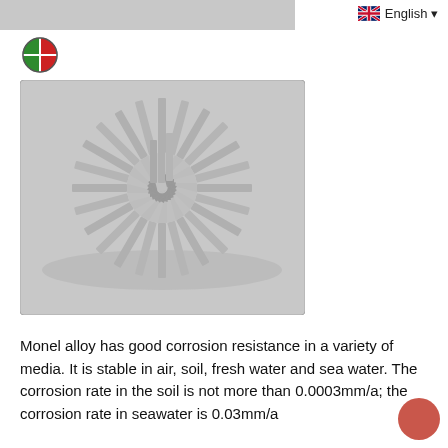English
[Figure (logo): Company logo: circular split circle icon in red and green]
[Figure (photo): Circular arrangement of stainless steel hex head self-drilling screws arranged in a fan/spiral pattern on a white background]
Monel alloy has good corrosion resistance in a variety of media. It is stable in air, soil, fresh water and sea water. The corrosion rate in the soil is not more than 0.0003mm/a; the corrosion rate in seawater is 0.03mm/a